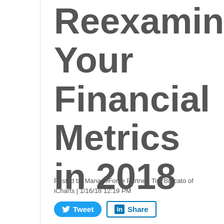Reexamine Your Financial Metrics in 2018
Posted by ManageForce Partner: Tim Brocato of iCharts | 1/16/18 12:19 PM